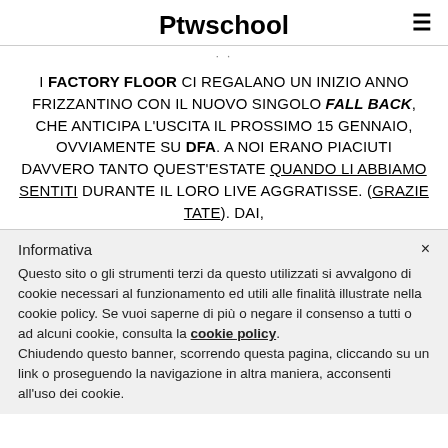Ptwschool
I FACTORY FLOOR CI REGALANO UN INIZIO ANNO FRIZZANTINO CON IL NUOVO SINGOLO FALL BACK, CHE ANTICIPA L’USCITA IL PROSSIMO 15 GENNAIO, OVVIAMENTE SU DFA. A NOI ERANO PIACIUTI DAVVERO TANTO QUEST’ESTATE QUANDO LI ABBIAMO SENTITI DURANTE IL LORO LIVE AGGRATISSE. (GRAZIE TATE). DAI,
Informativa
Questo sito o gli strumenti terzi da questo utilizzati si avvalgono di cookie necessari al funzionamento ed utili alle finalità illustrate nella cookie policy. Se vuoi saperne di più o negare il consenso a tutti o ad alcuni cookie, consulta la cookie policy.
Chiudendo questo banner, scorrendo questa pagina, cliccando su un link o proseguendo la navigazione in altra maniera, acconsenti all’uso dei cookie.